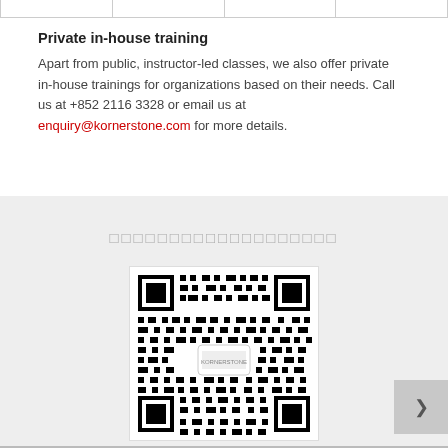|  |
Private in-house training
Apart from public, instructor-led classes, we also offer private in-house trainings for organizations based on their needs. Call us at +852 2116 3328 or email us at enquiry@kornerstone.com for more details.
[Figure (other): QR code for Kornerstone website or contact, displayed on a light gray background with Chinese text above it]